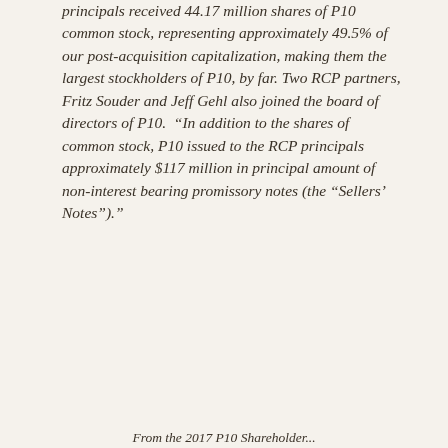principals received 44.17 million shares of P10 common stock, representing approximately 49.5% of our post-acquisition capitalization, making them the largest stockholders of P10, by far. Two RCP partners, Fritz Souder and Jeff Gehl also joined the board of directors of P10. "In addition to the shares of common stock, P10 issued to the RCP principals approximately $117 million in principal amount of non-interest bearing promissory notes (the “Sellers’ Notes”)."
From the 2017 P10 Shareholder...